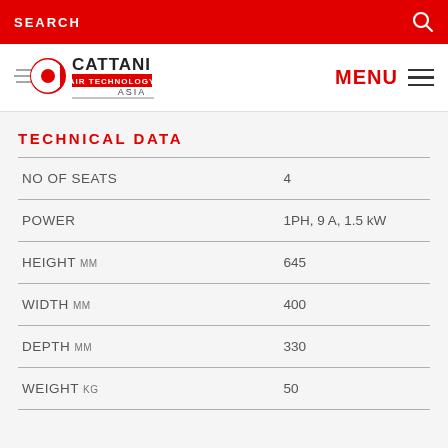SEARCH
[Figure (logo): Cattani Air Technology Asia logo with stylized C and speed lines]
TECHNICAL DATA
| Parameter | Value |
| --- | --- |
| NO OF SEATS | 4 |
| POWER | 1PH, 9 A, 1.5 kW |
| HEIGHT MM | 645 |
| WIDTH MM | 400 |
| DEPTH MM | 330 |
| WEIGHT KG | 50 |